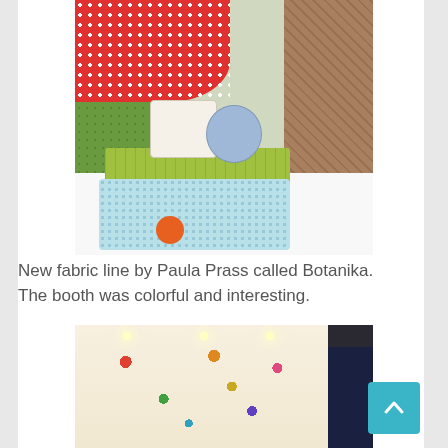[Figure (photo): A colorful fabric booth display featuring a black iron bench with green patterned cushion, decorative pillows (bird-patterned and round blue floral), an ottoman with light blue polka dot fabric and orange poppy flowers, a red polka dot tablecloth, green mosaic wall, and dark floral fabric curtains on the right side.]
New fabric line by Paula Prass called Botanika. The booth was colorful and interesting.
[Figure (photo): Interior of a fabric trade show booth showing large hanging panels of Botanika fabric featuring birds, butterflies, birdcages, flowers, and books on a cream background, with dark navy curtains on the left side and spot lighting from the ceiling.]